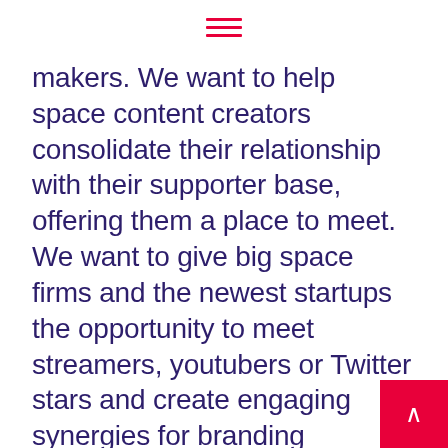≡
makers. We want to help space content creators consolidate their relationship with their supporter base, offering them a place to meet. We want to give big space firms and the newest startups the opportunity to meet streamers, youtubers or Twitter stars and create engaging synergies for branding development. We want to help laboratories and research centers find the right partners to deliver research that matters and broadens the horizons of what we can currently do in the sector.… And, at the end of the day, let's enjoy a drink together at a space-themed concert, wearing your favorite hoodie featuring Uranus fan art.